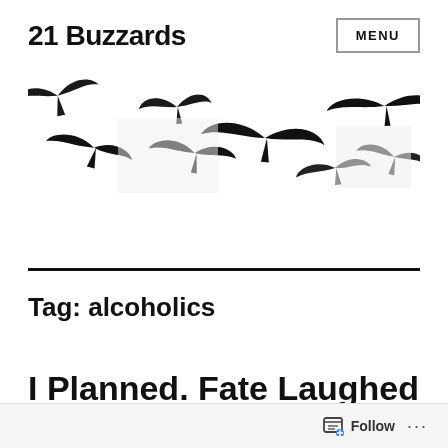21 Buzzards
[Figure (illustration): Eight buzzards/vultures in flight shown as black silhouettes scattered across a white background in various flying poses]
Tag: alcoholics
I Planned. Fate Laughed
Follow ...